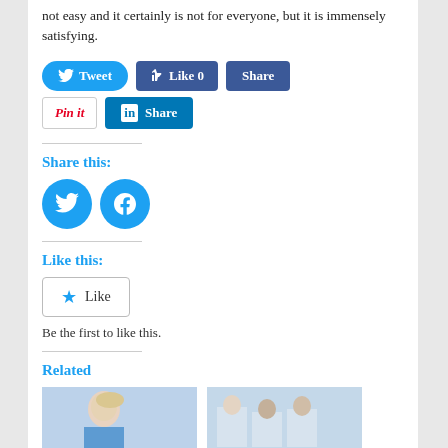not easy and it certainly is not for everyone, but it is immensely satisfying.
[Figure (screenshot): Social media sharing buttons: Tweet (Twitter), Like 0 (Facebook), Share (Facebook), Pin it (Pinterest), Share (LinkedIn)]
Share this:
[Figure (screenshot): Twitter and Facebook circular icon buttons for sharing]
Like this:
[Figure (screenshot): WordPress Like button widget with star icon and 'Like' text]
Be the first to like this.
Related
[Figure (photo): Two related article thumbnail images: a smiling female medical professional and a group of medical professionals in white coats]